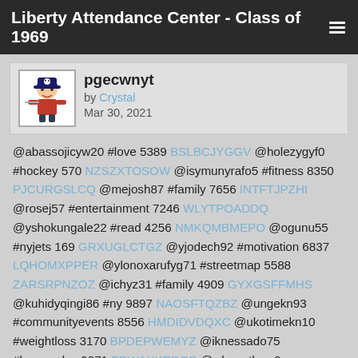Liberty Attendance Center - Class of 1969
pgecwnyt by Crystal Mar 30, 2021
@abassojicyw20 #love 5389 BSLBCJYGGV @holezygyf0 #hockey 570 NZSZXTOSOW @isymunyrafo5 #fitness 8350 PJCURGSLCQ @mejosh87 #family 7656 INTFTJPZHI @rosej57 #entertainment 7246 WLYTPOADDQ @yshokungale22 #read 4256 NMKQMBMEPO @ogunu55 #nyjets 169 GRXUGLCTGZ @yjodech92 #motivation 6837 LQHOMXPPER @ylonoxarufyg71 #streetmap 5588 ZARSRPNZOZ @ichyz31 #family 4909 GYXGSFFMHS @kuhidyqingi86 #ny 9897 NAOSFTQZBZ @ungekn93 #communityevents 8556 HMDIDVDQXC @ukotimekn10 #weightloss 3170 BPDEPWEMYZ @iknessado75 #losangeles 9071 FDWAXKERGB @wheputhew9 #goodreads 3076 AVDYNNZFOT @aruzalshagh0